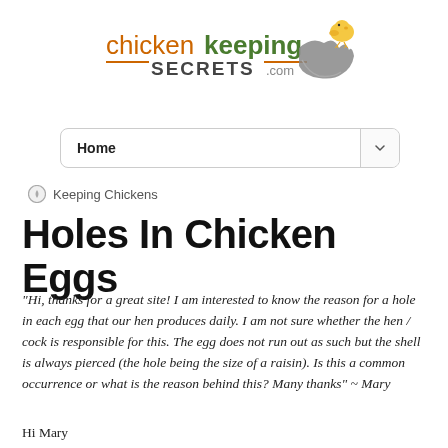[Figure (logo): Chicken Keeping Secrets .com logo with orange and green text, decorative hand and chick illustration]
[Figure (screenshot): Navigation dropdown bar showing 'Home' with arrow]
Keeping Chickens
Holes In Chicken Eggs
“Hi, thanks for a great site! I am interested to know the reason for a hole in each egg that our hen produces daily. I am not sure whether the hen / cock is responsible for this. The egg does not run out as such but the shell is always pierced (the hole being the size of a raisin). Is this a common occurrence or what is the reason behind this? Many thanks” ~ Mary
Hi Mary